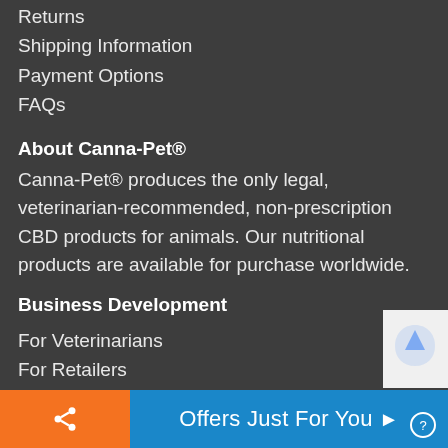Returns
Shipping Information
Payment Options
FAQs
About Canna-Pet®
Canna-Pet® produces the only legal, veterinarian-recommended, non-prescription CBD products for animals. Our nutritional products are available for purchase worldwide.
Business Development
For Veterinarians
For Retailers
For Professionals
For Rescue/501c3 Charities
Offers Just For You ▶